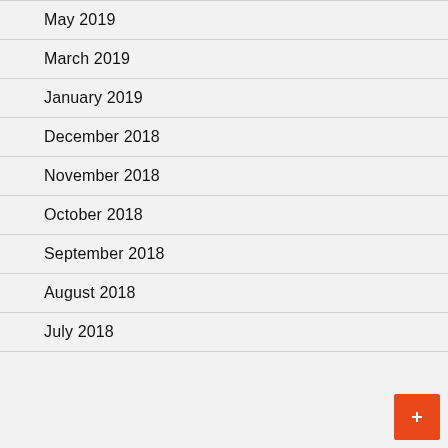May 2019
March 2019
January 2019
December 2018
November 2018
October 2018
September 2018
August 2018
July 2018